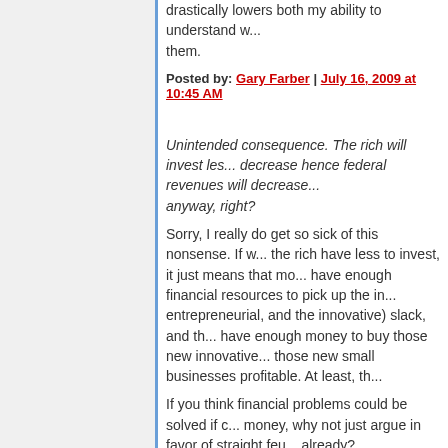drastically lowers both my ability to understand w... them.
Posted by: Gary Farber | July 16, 2009 at 10:45 AM
Unintended consequence. The rich will invest less... decrease hence federal revenues will decrease... anyway, right?
Sorry, I really do get so sick of this nonsense. If w... the rich have less to invest, it just means that mo... have enough financial resources to pick up the in... entrepreneurial, and the innovative) slack, and th... have enough money to buy those new innovative... those new small businesses profitable. At least, th...
If you think financial problems could be solved if c... money, why not just argue in favor of straight feu... already?
Posted by: jenniebee | July 16, 2009 at 10:49 AM
Hilzoy, if you possibly have a moment, might it be...